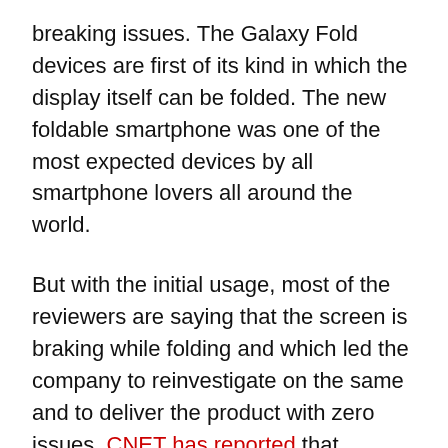breaking issues. The Galaxy Fold devices are first of its kind in which the display itself can be folded. The new foldable smartphone was one of the most expected devices by all smartphone lovers all around the world.
But with the initial usage, most of the reviewers are saying that the screen is braking while folding and which led the company to reinvestigate on the same and to deliver the product with zero issues. CNET has reported that Samsung has notified them with the new launch date in the upcoming week and they are looking into the issue seriously.